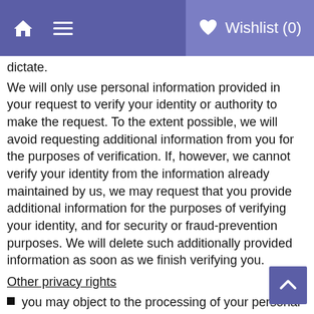Wishlist (0)
dictate.
We will only use personal information provided in your request to verify your identity or authority to make the request. To the extent possible, we will avoid requesting additional information from you for the purposes of verification. If, however, we cannot verify your identity from the information already maintained by us, we may request that you provide additional information for the purposes of verifying your identity, and for security or fraud-prevention purposes. We will delete such additionally provided information as soon as we finish verifying you.
Other privacy rights
you may object to the processing of your personal data.
you may request correction of your personal data if it is incorrect or no longer relevant, or ask to restrict the processing of the data.
you can designate an authorized agent to make a request under the CCPA on your behalf. We may deny a request from an authorized agent that does not submit proof that they have been